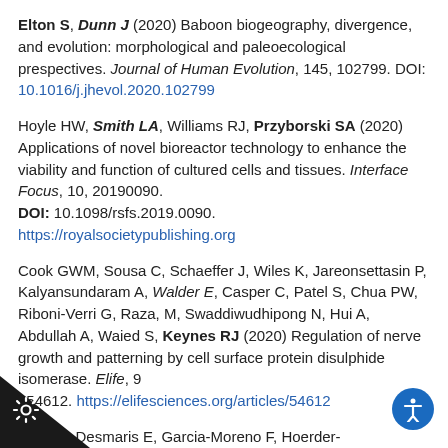Elton S, Dunn J (2020) Baboon biogeography, divergence, and evolution: morphological and paleoecological prespectives. Journal of Human Evolution, 145, 102799. DOI: 10.1016/j.jhevol.2020.102799
Hoyle HW, Smith LA, Williams RJ, Przyborski SA (2020) Applications of novel bioreactor technology to enhance the viability and function of cultured cells and tissues. Interface Focus, 10, 20190090. DOI: 10.1098/rsfs.2019.0090. https://royalsocietypublishing.org
Cook GWM, Sousa C, Schaeffer J, Wiles K, Jareonsettasin P, Kalyansundaram A, Walder E, Casper C, Patel S, Chua PW, Riboni-Verri G, Raza, M, Swaddiwudhipong N, Hui A, Abdullah A, Waied S, Keynes RJ (2020) Regulation of nerve growth and patterning by cell surface protein disulphide isomerase. Elife, 9 e54612. https://elifesciences.org/articles/54612
atie L, Desmaris E, Garcia-Moreno F, Hoerder-nedissen A, Kelman A, Theil T, Bellefroid EJ, Molnar... oss of Dmrt5 affects the formation of the subplate